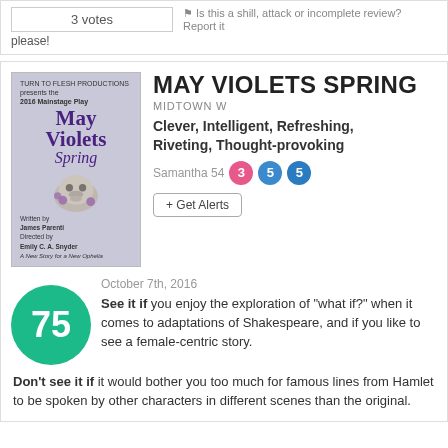3 votes
Is this a shill, attack or incomplete review? Report it please!
MAY VIOLETS SPRING
MIDTOWN W
Clever, Intelligent, Refreshing, Riveting, Thought-provoking
Samantha 54  3  5  5
+ Get Alerts
October 7th, 2016
See it if you enjoy the exploration of "what if?" when it comes to adaptations of Shakespeare, and if you like to see a female-centric story.
Don't see it if it would bother you too much for famous lines from Hamlet to be spoken by other characters in different scenes than the original.